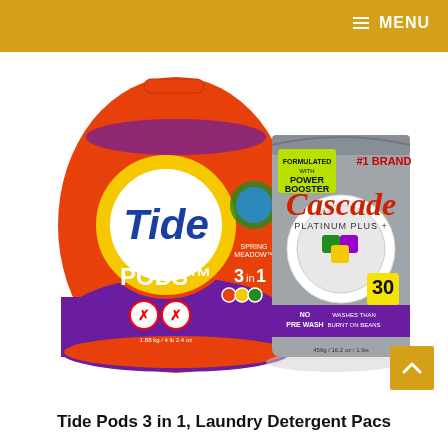MENU
[Figure (photo): Two cleaning product packages side by side: a large round orange Tide PODS 3-in-1 Laundry Detergent container on the left, and a grey Cascade Platinum Plus 30-count dishwasher detergent bag on the right.]
Tide Pods 3 in 1, Laundry Detergent Pacs